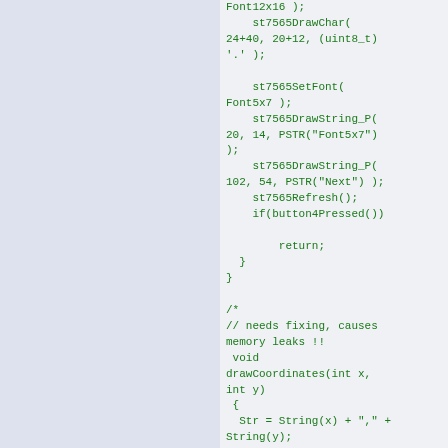[Figure (other): Left panel with light blue-grey background, no content visible]
Font12x16 );
    st7565DrawChar(
24+40, 20+12, (uint8_t)
'.' );

    st7565SetFont(
Font5x7 );
    st7565DrawString_P(
20, 14, PSTR("Font5x7")
);
    st7565DrawString_P(
102, 54, PSTR("Next") );
    st7565Refresh();
    if(button4Pressed())

        return;
  }
}

/*
// needs fixing, causes
memory leaks !!
 void
drawCoordinates(int x,
int y)
 {
  Str = String(x) + "," +
String(y);
 Str.toCharArray(str,6);

 st7565DrawString( x, y,
str);
 }